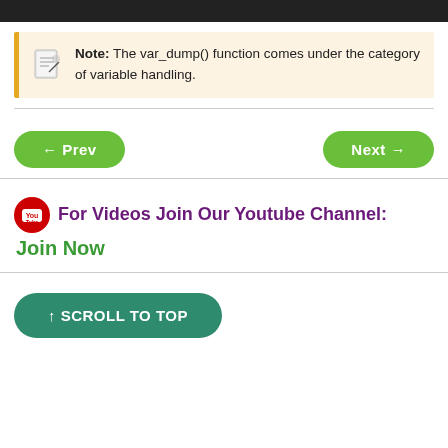[Figure (other): Dark top navigation bar]
Note: The var_dump() function comes under the category of variable handling.
← Prev
Next →
For Videos Join Our Youtube Channel: Join Now
↑ SCROLL TO TOP